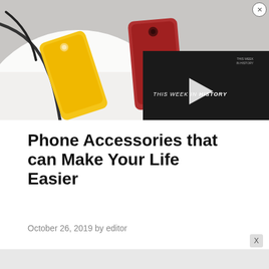[Figure (photo): Hero image showing colorful phone accessories on a white plate — yellow and red iPhones with a charging cable on a white background, with a video overlay widget showing 'THIS WEEK IN HISTORY' text and a play button, and a close (X) button in the corner]
Phone Accessories that can Make Your Life Easier
October 26, 2019 by editor